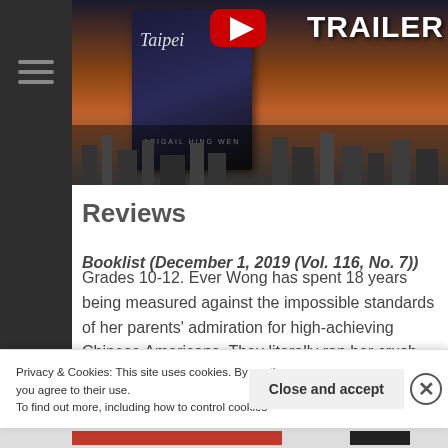[Figure (screenshot): Book cover for 'Taipei' by Abigail Hing Wen with a YouTube TRAILER overlay — dark cityscape background with book cover on the left and TRAILER text on the right.]
Reviews
Booklist (December 1, 2019 (Vol. 116, No. 7))
Grades 10-12. Ever Wong has spent 18 years being measured against the impossible standards of her parents' admiration for high-achieving Chinese Americans. They literally ran her crush away
Privacy & Cookies: This site uses cookies. By continuing to use this website, you agree to their use.
To find out more, including how to control cookies, see here: Cookie Policy